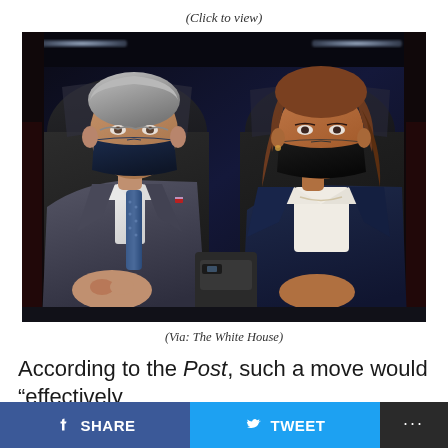(Click to view)
[Figure (photo): Two masked individuals seated inside a vehicle. On the left is an older male in a dark suit with a blue patterned tie wearing a navy face mask. On the right is a woman with brown hair in a dark navy blazer wearing a black face mask. Interior shows dark leather seats and vehicle ceiling with lights.]
(Via: The White House)
According to the Post, such a move would "effectively
SHARE   TWEET   ...